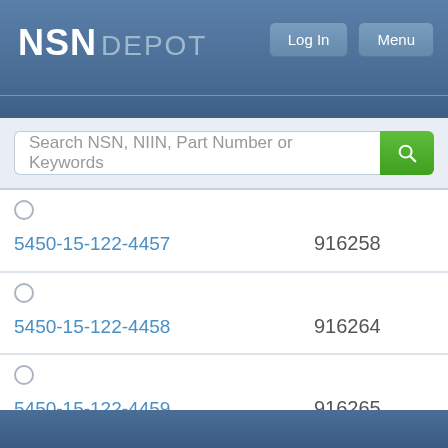NSN DEPOT
Search NSN, NIIN, Part Number or Keywords
5450-15-122-4457  916258
5450-15-122-4458  916264
5450-15-122-4459  916265